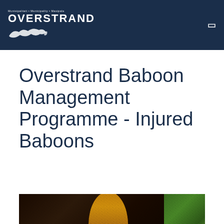OVERSTRAND
Overstrand Baboon Management Programme - Injured Baboons
[Figure (photo): Close-up photograph of a baboon, showing dark fur on the left and right sides with a tan/golden face visible in the center, with green grass/vegetation visible on the right side.]